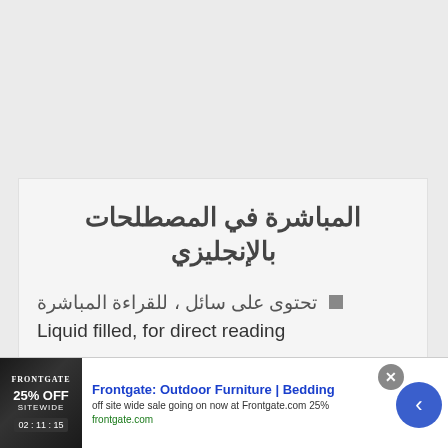المباشرة في المصطلحات بالإنجليزي
تحتوى على سائل ، للقراءة المباشرة
Liquid filled, for direct reading
أ... بالإنجليزي
[Figure (other): Advertisement banner: Frontgate Outdoor Furniture Bedding, 25% off site wide sale]